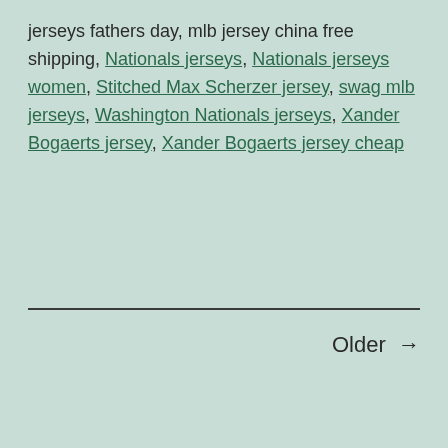jerseys fathers day, mlb jersey china free shipping, Nationals jerseys, Nationals jerseys women, Stitched Max Scherzer jersey, swag mlb jerseys, Washington Nationals jerseys, Xander Bogaerts jersey, Xander Bogaerts jersey cheap
Older →